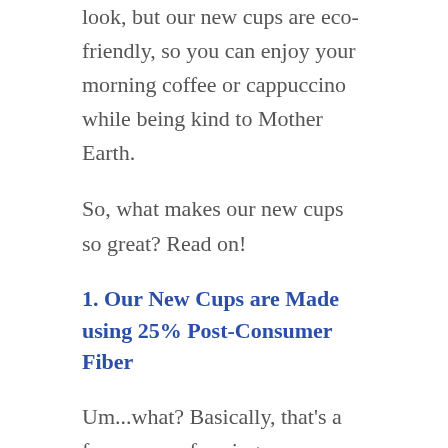look, but our new cups are eco-friendly, so you can enjoy your morning coffee or cappuccino while being kind to Mother Earth.
So, what makes our new cups so great? Read on!
1. Our New Cups are Made using 25% Post-Consumer Fiber
Um...what? Basically, that's a fancy way of saying our new cups are good for the environment. Post-consumer fiber refers to any material that has been used, recycled, and used again. For instance, about a fourth of the paper material in our cups